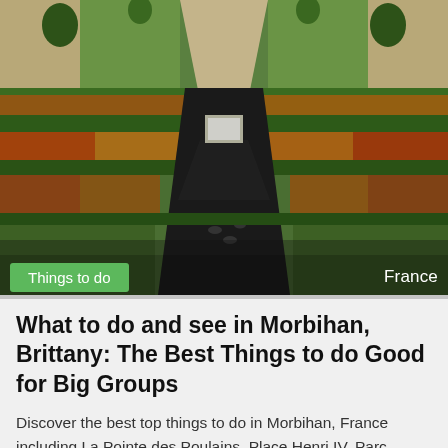[Figure (photo): Aerial view of a formal French garden with geometric hedges, colorful flower beds, and a dark water channel or path running through the center. Green lawns and topiary trees visible in background.]
Things to do
France
What to do and see in Morbihan, Brittany: The Best Things to do Good for Big Groups
Discover the best top things to do in Morbihan, France including La Pointe des Poulains, Place Henri IV, Parc Animalier et Botanique de Branfere, Citadelle de Port-Louis,